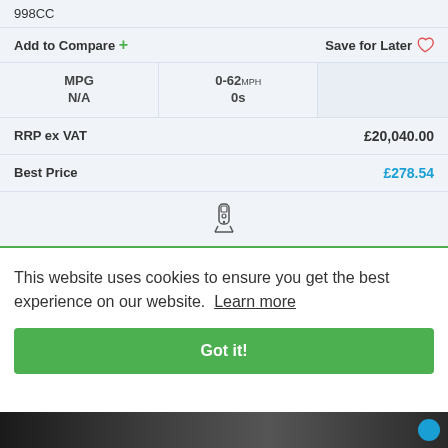998CC
Add to Compare + Save for Later ♡
| MPG | 0-62MPH |  |
| --- | --- | --- |
| N/A | 0s |  |
RRP ex VAT £20,040.00
Best Price £278.54
[Figure (illustration): Car key fob icon]
This website uses cookies to ensure you get the best experience on our website. Learn more
Got it!
[Figure (photo): Car image at bottom of page]